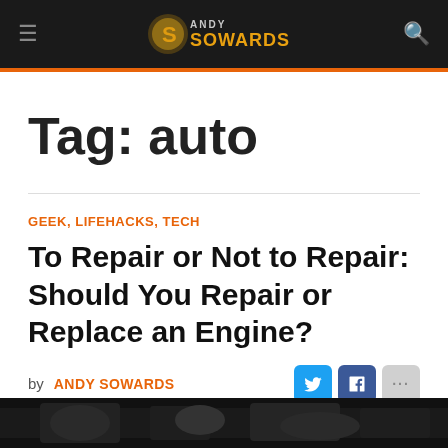Andy Sowards — site header with navigation menu icon, logo, and search icon
Tag: auto
GEEK, LIFEHACKS, TECH
To Repair or Not to Repair: Should You Repair or Replace an Engine?
by ANDY SOWARDS
JUNE 16, 2021   0   1,223
[Figure (photo): Dark partial image at the bottom of the page, showing what appears to be a mechanic or engine repair scene]